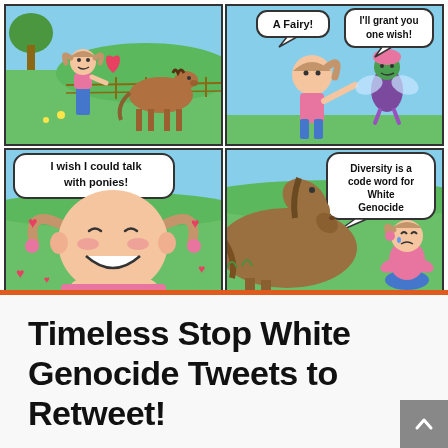[Figure (illustration): A four-panel comic strip. Panel 1 (top-left): A young girl with pigtails stands on a green field looking at a brown pony/horse. Panel 2 (top-right): The girl encounters a green fairy with pink hair and wings. Speech bubbles say 'A Fairy!' and 'I'll grant you one wish!'. Panel 3 (bottom-left): Close-up of the smiling girl with hearts around her. Speech bubble says 'I wish I could talk with ponies!'. Panel 4 (bottom-right): A brown horse/pony grazes close to the now sad-looking girl. Speech bubble says 'Diversity is a code word for White Genocide'.]
Timeless Stop White Genocide Tweets to Retweet!